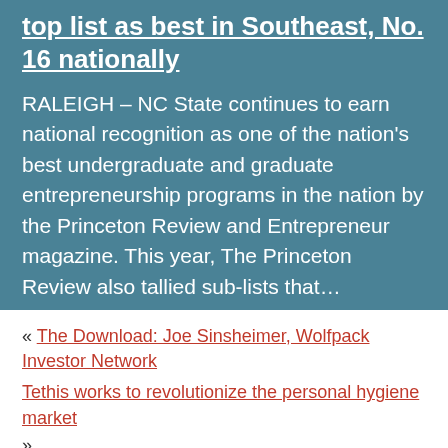top list as best in Southeast, No. 16 nationally
RALEIGH – NC State continues to earn national recognition as one of the nation's best undergraduate and graduate entrepreneurship programs in the nation by the Princeton Review and Entrepreneur magazine. This year, The Princeton Review also tallied sub-lists that…
« The Download: Joe Sinsheimer, Wolfpack Investor Network
Tethis works to revolutionize the personal hygiene market »